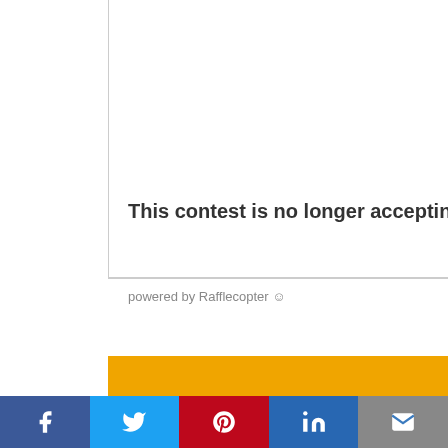This contest is no longer accepting entries
powered by Rafflecopter 😊
[Figure (screenshot): Social sharing bar with Facebook, Twitter, Pinterest, LinkedIn, and Email buttons]